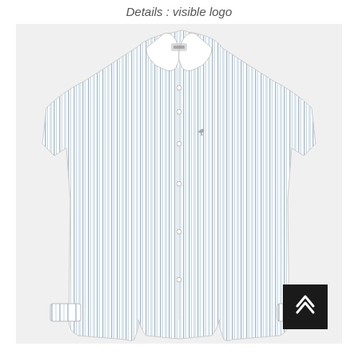Details : visible logo
[Figure (photo): A white and light blue striped long-sleeve button-down shirt with a visible logo on the chest, displayed flat against a white background.]